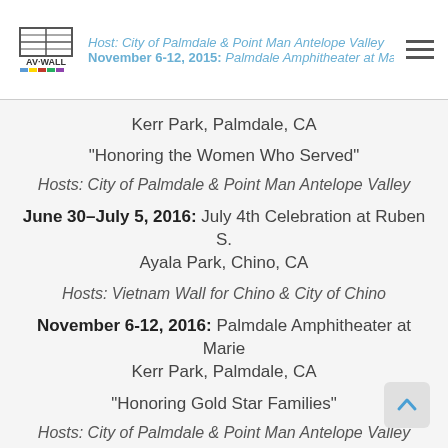Host: City of Palmdale & Point Man Antelope Valley | November 6-12, 2015: Palmdale Amphitheater at Marie Kerr Park, Palmdale, CA
Kerr Park, Palmdale, CA
"Honoring the Women Who Served"
Hosts: City of Palmdale & Point Man Antelope Valley
June 30-July 5, 2016: July 4th Celebration at Ruben S. Ayala Park, Chino, CA
Hosts: Vietnam Wall for Chino & City of Chino
November 6-12, 2016: Palmdale Amphitheater at Marie Kerr Park, Palmdale, CA
"Honoring Gold Star Families"
Hosts: City of Palmdale & Point Man Antelope Valley